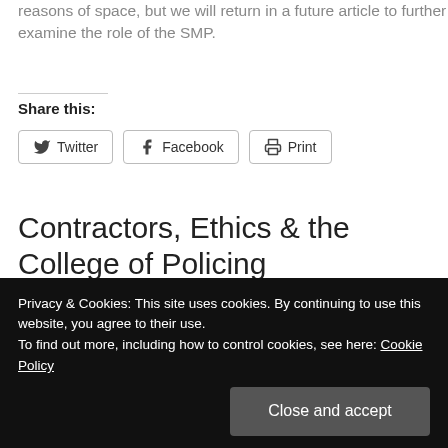reasons of space, but we will return in a future article to further examine the role of the SMP.
Share this:
[Figure (other): Social share buttons: Twitter, Facebook, Print]
Contractors, Ethics & the College of Policing
iodpa  2017-06-06  College of Policing, morale, selected medical practitioner
Privacy & Cookies: This site uses cookies. By continuing to use this website, you agree to their use. To find out more, including how to control cookies, see here: Cookie Policy
Close and accept